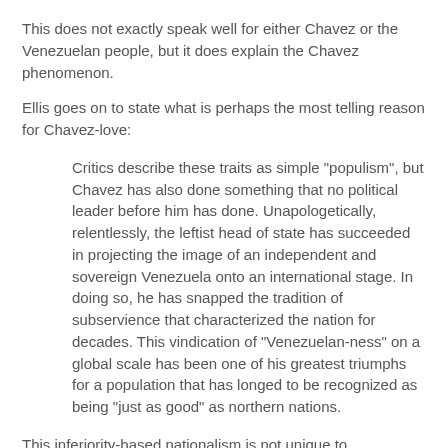This does not exactly speak well for either Chavez or the Venezuelan people, but it does explain the Chavez phenomenon.
Ellis goes on to state what is perhaps the most telling reason for Chavez-love:
Critics describe these traits as simple "populism", but Chavez has also done something that no political leader before him has done. Unapologetically, relentlessly, the leftist head of state has succeeded in projecting the image of an independent and sovereign Venezuela onto an international stage. In doing so, he has snapped the tradition of subservience that characterized the nation for decades. This vindication of "Venezuelan-ness" on a global scale has been one of his greatest triumphs for a population that has longed to be recognized as being "just as good" as northern nations.
This inferiority-based nationalism is not unique to